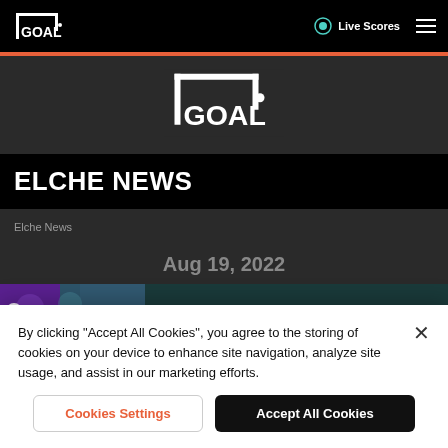GOAL – Live Scores, navigation bar
[Figure (logo): GOAL logo (small) in top nav bar]
Live Scores
[Figure (logo): GOAL logo (large) centered on dark background]
ELCHE NEWS
Elche News
Aug 19, 2022
[Figure (photo): Partial image strip showing people and sports content]
By clicking "Accept All Cookies", you agree to the storing of cookies on your device to enhance site navigation, analyze site usage, and assist in our marketing efforts.
Cookies Settings
Accept All Cookies